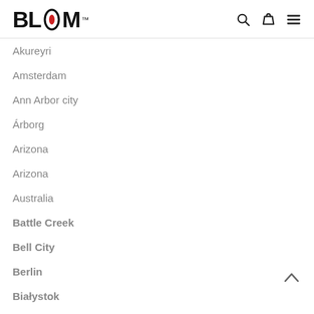BLOOM™
Akureyri
Amsterdam
Ann Arbor city
Árborg
Arizona
Arizona
Australia
Battle Creek
Bell City
Berlin
Białystok